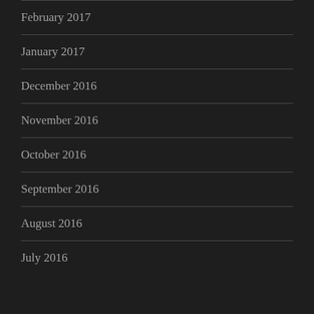February 2017
January 2017
December 2016
November 2016
October 2016
September 2016
August 2016
July 2016